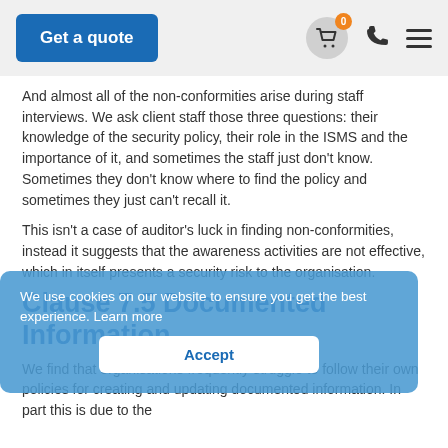Get a quote
And almost all of the non-conformities arise during staff interviews. We ask client staff those three questions: their knowledge of the security policy, their role in the ISMS and the importance of it, and sometimes the staff just don't know. Sometimes they don't know where to find the policy and sometimes they just can't recall it.
This isn't a case of auditor's luck in finding non-conformities, instead it suggests that the awareness activities are not effective, which in itself presents a security risk to the organisation.
We use cookies on our website to ensure you get the best experience. Learn more
Clause 7.5 Documented Information
Accept
We find that organisations frequently struggle to follow their own policies for creating and updating documented information. In part this is due to the